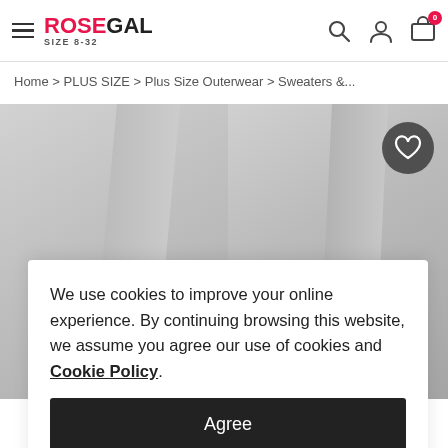ROSEGAL SIZE 8-32
Home > PLUS SIZE > Plus Size Outerwear > Sweaters &...
[Figure (photo): Product photo of two gray cardigans with black lace trim sleeves on a gray background, with a circular dark button to the top right containing a heart icon.]
We use cookies to improve your online experience. By continuing browsing this website, we assume you agree our use of cookies and Cookie Policy.
Agree